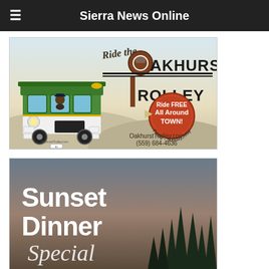Sierra News Online
[Figure (illustration): Oakhurst Trolley advertisement. Shows a green trolley car with an animal (bear) driver. Text reads: Ride the Oakhurst Trolley. Ride FREE All Around TOWN! Friday - Sunday, May to Sept. OakhurstTrolley.com (559) 684-4636]
[Figure (illustration): Sunset Dinner Special advertisement. Shows a dark scenic background with trees. Large white bold text reads 'Sunset Dinner' and cursive text reads 'Special']